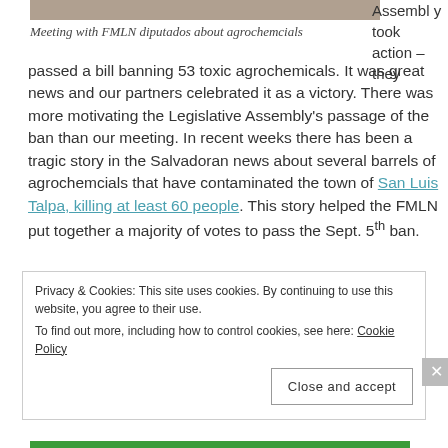[Figure (photo): Partial photo at top of page showing people meeting]
Meeting with FMLN diputados about agrochemcials
Assembly took action – they passed a bill banning 53 toxic agrochemicals. It was great news and our partners celebrated it as a victory. There was more motivating the Legislative Assembly's passage of the ban than our meeting. In recent weeks there has been a tragic story in the Salvadoran news about several barrels of agrochemcials that have contaminated the town of San Luis Talpa, killing at least 60 people. This story helped the FMLN put together a majority of votes to pass the Sept. 5th ban.
Privacy & Cookies: This site uses cookies. By continuing to use this website, you agree to their use.
To find out more, including how to control cookies, see here: Cookie Policy
Close and accept